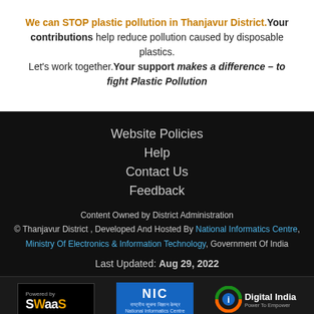We can STOP plastic pollution in Thanjavur District. Your contributions help reduce pollution caused by disposable plastics. Let's work together. Your support makes a difference – to fight Plastic Pollution
Website Policies
Help
Contact Us
Feedback
Content Owned by District Administration
© Thanjavur District , Developed And Hosted By National Informatics Centre, Ministry Of Electronics & Information Technology, Government Of India
Last Updated: Aug 29, 2022
[Figure (logo): Powered by SWaaS logo]
[Figure (logo): NIC National Informatics Centre logo]
[Figure (logo): Digital India - Power To Empower logo]